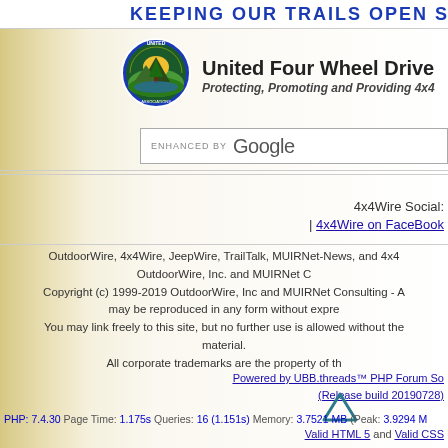KEEPING OUR TRAILS OPEN SINCE
[Figure (logo): United Four Wheel Drive Associations circular logo with mountain and tree imagery]
United Four Wheel Drive
Protecting, Promoting and Providing 4x4
ENHANCED BY Google
4x4Wire Social:
| 4x4Wire on FaceBook
OutdoorWire, 4x4Wire, JeepWire, TrailTalk, MUIRNet-News, and 4x4 OutdoorWire, Inc. and MUIRNet C Copyright (c) 1999-2019 OutdoorWire, Inc and MUIRNet Consulting - A may be reproduced in any form without expre You may link freely to this site, but no further use is allowed without the material. All corporate trademarks are the property of th
Powered by UBB.threads™ PHP Forum So (Release build 20190728)
PHP: 7.4.30 Page Time: 1.175s Queries: 16 (1.151s) Memory: 3.7521 MB (Peak: 3.9294 M
Valid HTML 5 and Valid CSS